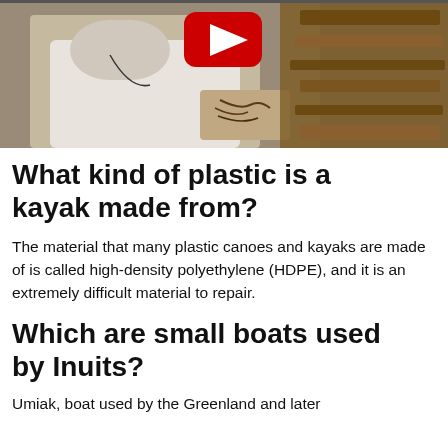[Figure (photo): A person in a white garment holding or examining rope/cord near a wooden boat or kayak frame. A YouTube play button overlay is visible at the top center.]
What kind of plastic is a kayak made from?
The material that many plastic canoes and kayaks are made of is called high-density polyethylene (HDPE), and it is an extremely difficult material to repair.
Which are small boats used by Inuits?
Umiak, boat used by the Greenland and later